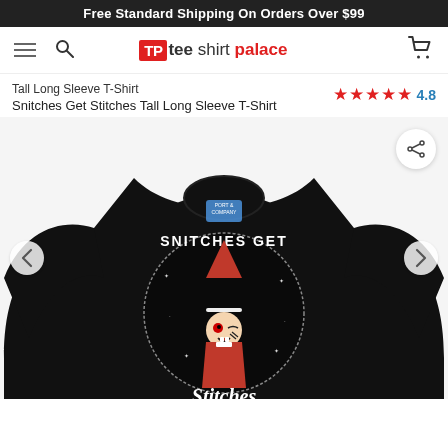Free Standard Shipping On Orders Over $99
[Figure (logo): Tee Shirt Palace logo with hamburger menu, search icon, and cart icon in navigation bar]
Tall Long Sleeve T-Shirt
Snitches Get Stitches Tall Long Sleeve T-Shirt
[Figure (other): Rating: 4.8 out of 5 stars (5 red stars shown)]
[Figure (photo): Black long sleeve t-shirt with 'Snitches Get Stitches' graphic featuring a creepy elf character in a circular design. The shirt is displayed on a model torso against a white background. Navigation arrows on left and right sides. Share button in top right corner.]